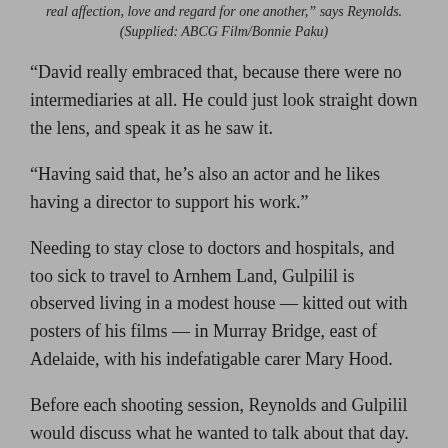real affection, love and regard for one another," says Reynolds.
(Supplied: ABCG Film/Bonnie Paku)
“David really embraced that, because there were no intermediaries at all. He could just look straight down the lens, and speak it as he saw it.
“Having said that, he’s also an actor and he likes having a director to support his work.”
Needing to stay close to doctors and hospitals, and too sick to travel to Arnhem Land, Gulpilil is observed living in a modest house — kitted out with posters of his films — in Murray Bridge, east of Adelaide, with his indefatigable carer Mary Hood.
Before each shooting session, Reynolds and Gulpilil would discuss what he wanted to talk about that day.